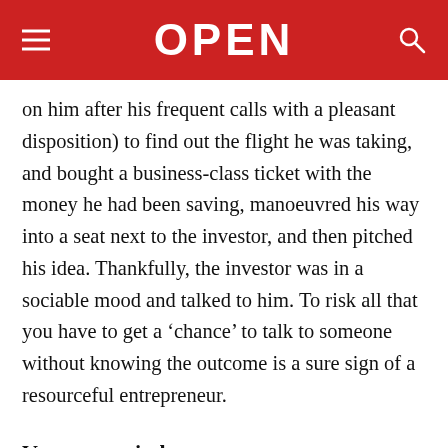OPEN
on him after his frequent calls with a pleasant disposition) to find out the flight he was taking, and bought a business-class ticket with the money he had been saving, manoeuvred his way into a seat next to the investor, and then pitched his idea. Thankfully, the investor was in a sociable mood and talked to him. To risk all that you have to get a ‘chance’ to talk to someone without knowing the outcome is a sure sign of a resourceful entrepreneur.
Venture capital